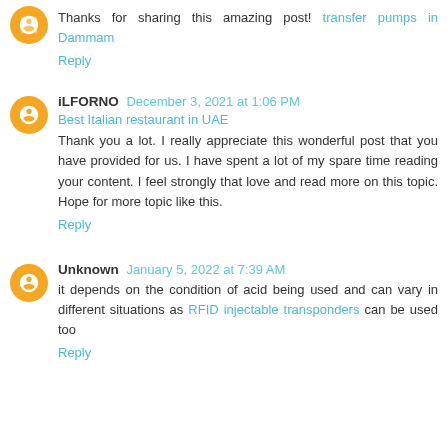Thanks for sharing this amazing post! transfer pumps in Dammam
Reply
iLFORNO December 3, 2021 at 1:06 PM
Best Italian restaurant in UAE
Thank you a lot. I really appreciate this wonderful post that you have provided for us. I have spent a lot of my spare time reading your content. I feel strongly that love and read more on this topic. Hope for more topic like this.
Reply
Unknown January 5, 2022 at 7:39 AM
it depends on the condition of acid being used and can vary in different situations as RFID injectable transponders can be used too
Reply